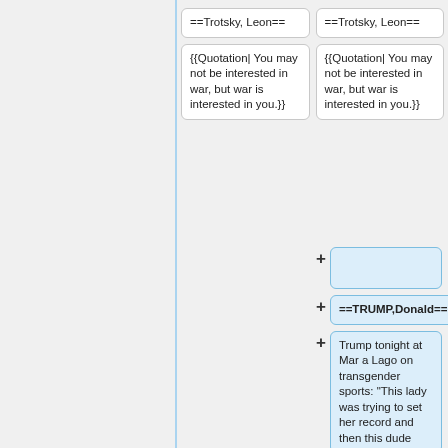==Trotsky, Leon==
==Trotsky, Leon==
{{Quotation| You may not be interested in war, but war is interested in you.}}
{{Quotation| You may not be interested in war, but war is interested in you.}}
==TRUMP,Donald==
Trump tonight at Mar a Lago on transgender sports: “This lady was trying to set her record and then this dude